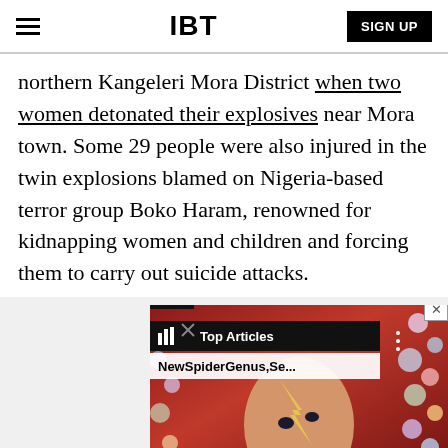IBT | SIGN UP
northern Kangeleri Mora District when two women detonated their explosives near Mora town. Some 29 people were also injured in the twin explosions blamed on Nigeria-based terror group Boko Haram, renowned for kidnapping women and children and forcing them to carry out suicide attacks.
[Figure (screenshot): Advertisement overlay showing 'Top Articles' widget with 'NewSpiderGenus,Se...' label over a colorful background image, with a close (X) button.]